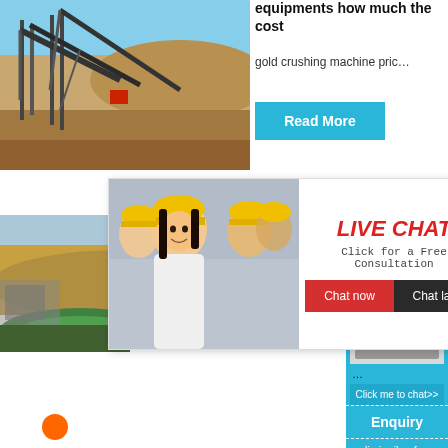[Figure (photo): Mining/crushing facility with conveyor structures against desert hillside, blue sky]
equipments how much the cost
gold crushing machine pric…
Read More
[Figure (photo): Open-pit mining operation with excavated earth and green water pool visible]
gold crus…
Read
[Figure (photo): Live Chat popup with workers in yellow hard hats; woman in foreground smiling]
LIVE CHAT
Click for a Free Consultation
Chat now
Chat later
hour online
ne
fr
[Figure (photo): Industrial crushing machine equipment photo]
Click me to chat>>
Enquiry
limingjlmofen